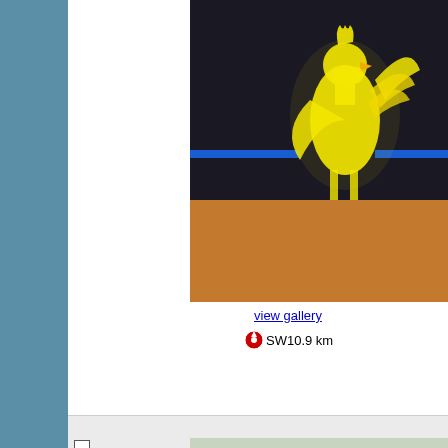[Figure (photo): Neon rooster sign at a gas station, glowing yellow on dark background]
Nice neon sign of a rooster at the gas station Ha
posted by: Becktracker
location: Utrecht, Netherlands
date approved: 2/13/2022    last visited:
view gallery
SW10.9 km
[Figure (photo): Blue metal hiking trail network map sign on a post outdoors]
U staat hier (Wandelroutennetwerk'
in 'You Are Here' Maps
Hiking trail network is located on Dorpsstraat in b
posted by: Keifoort
location: Utrecht, Netherlands
date approved: 3/16/2022    last visited:
view gallery
W11.9 km
Brug Boveneind - 1895 - Benschop